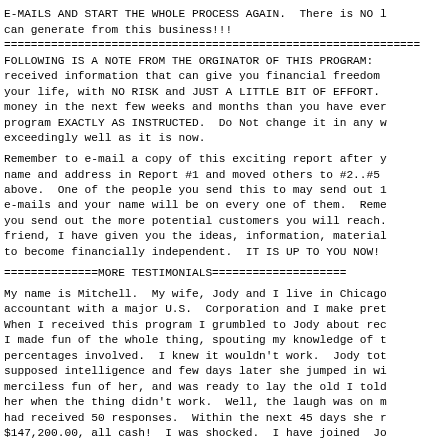E-MAILS AND START THE WHOLE PROCESS AGAIN.  There is NO limit to the income you can generate from this business!!!
==============================================================
FOLLOWING IS A NOTE FROM THE ORGINATOR OF THIS PROGRAM: You have received information that can give you financial freedom for the rest of your life, with NO RISK and JUST A LITTLE BIT OF EFFORT.  You will make more money in the next few weeks and months than you have ever dreamed of.  Follow the program EXACTLY AS INSTRUCTED.  Do Not change it in any way. It is working exceedingly well as it is now.
Remember to e-mail a copy of this exciting report after you have put your name and address in Report #1 and moved others to #2..#5 as instructed above.  One of the people you send this to may send out 1,000,000 e-mails and your name will be on every one of them.  Remember, the more you send out the more potential customers you will reach.  As your business friend, I have given you the ideas, information, materials, and the opportunity to become financially independent.  IT IS UP TO YOU NOW!
==============MORE TESTIMONIALS====================
My name is Mitchell.  My wife, Jody and I live in Chicago.  I am an accountant with a major U.S.  Corporation and I make pretty good money. When I received this program I grumbled to Jody about receiving it and I made fun of the whole thing, spouting my knowledge of the odds and percentages involved.  I knew it wouldn’t work.  Jody told me I was full of my supposed intelligence and few days later she jumped in with both feet.  I made merciless fun of her, and was ready to lay the old I told you so speech on her when the thing didn’t work.  Well, the laugh was on me.  Within 2 weeks she had received 50 responses.  Within the next 45 days she had received $147,200.00, all cash!  I was shocked.  I have joined  Jody